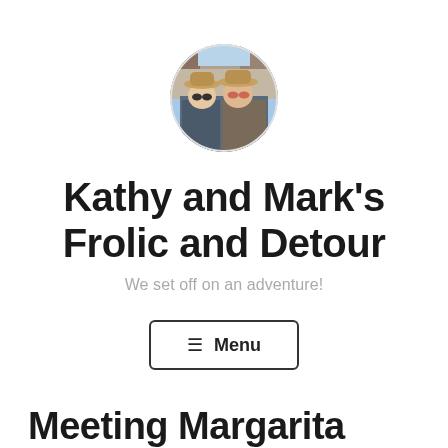[Figure (photo): Circular profile photo of two people wearing hats outdoors with a rocky canyon background]
Kathy and Mark's Frolic and Detour
We set off on an adventure!
☰ Menu
Meeting Margarita